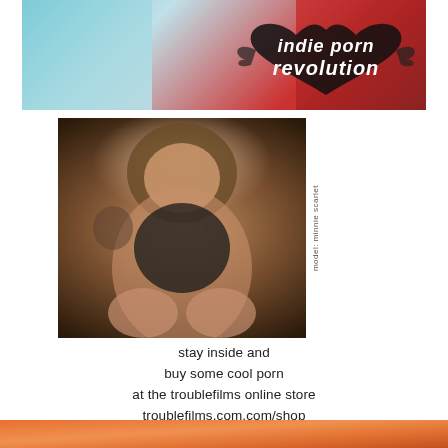[Figure (photo): Banner image for 'indie porn revolution' website with stylized logo text on a heart shape, with models visible on left and right sides against blue and red backgrounds]
[Figure (photo): Photo of model Minnie Scarlet wearing black lace lingerie, seated on white bedding, with tattoos visible on shoulder and legs]
model: minnie scarlet
stay inside and buy some cool porn at the troublefilms online store troublefilms.com.com/shop
[Figure (photo): Bottom strip showing partial image with orange/warm tones]